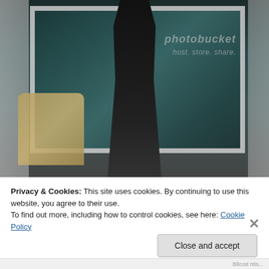[Figure (photo): A Photobucket watermarked fashion photo showing a woman in a black dress and boots standing near a large window with an urban street reflection. A yellow-gold chair is visible to the left. The Photobucket logo and tagline 'host. store. share.' appear as a watermark overlay.]
Privacy & Cookies: This site uses cookies. By continuing to use this website, you agree to their use.
To find out more, including how to control cookies, see here: Cookie Policy